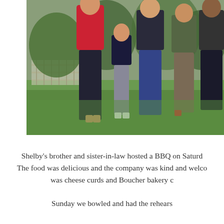[Figure (photo): Group photo of several people standing outdoors on grass. A woman in a red sweater and black pants stands at left. A child in a dark blue jacket stands in the middle. Other adults stand to the right. A fence and trees are visible in the background.]
Shelby's brother and sister-in-law hosted a BBQ on Saturd... The food was delicious and the company was kind and welco... was cheese curds and Boucher bakery c...
Sunday we bowled and had the rehears...